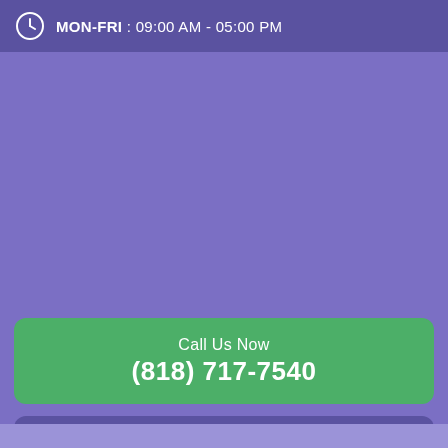MON-FRI : 09:00 AM - 05:00 PM
[Figure (other): Large purple background area (empty)]
Call Us Now
(818) 717-7540
11017 S. Atlantic Avenue, Lynwood, CA 90262
MON-FRI: 09:00 AM - 05:00 PM